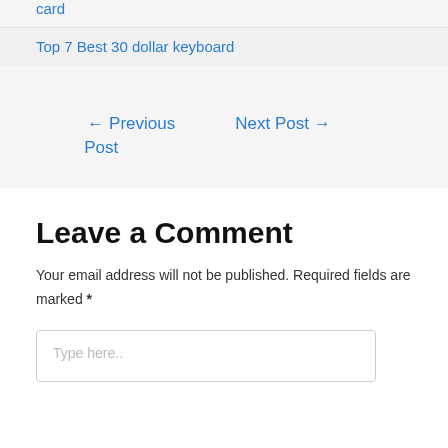card
Top 7 Best 30 dollar keyboard
← Previous Post
Next Post →
Leave a Comment
Your email address will not be published. Required fields are marked *
Type here..